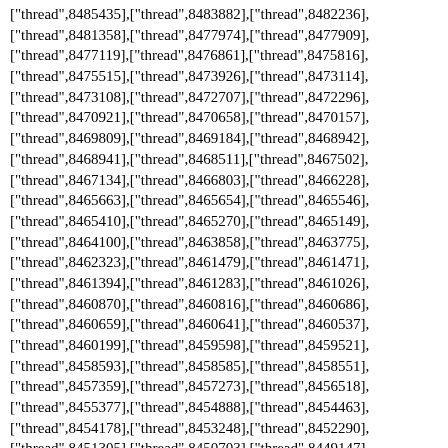["thread",8485435],["thread",8483882],["thread",8482236],["thread",8481358],["thread",8477974],["thread",8477909],["thread",8477119],["thread",8476861],["thread",8475816],["thread",8475515],["thread",8473926],["thread",8473114],["thread",8473108],["thread",8472707],["thread",8472296],["thread",8470921],["thread",8470658],["thread",8470157],["thread",8469809],["thread",8469184],["thread",8468942],["thread",8468941],["thread",8468511],["thread",8467502],["thread",8467134],["thread",8466803],["thread",8466228],["thread",8465663],["thread",8465654],["thread",8465546],["thread",8465410],["thread",8465270],["thread",8465149],["thread",8464100],["thread",8463858],["thread",8463775],["thread",8462323],["thread",8461479],["thread",8461471],["thread",8461394],["thread",8461283],["thread",8461026],["thread",8460870],["thread",8460816],["thread",8460686],["thread",8460659],["thread",8460641],["thread",8460537],["thread",8460199],["thread",8459598],["thread",8459521],["thread",8458593],["thread",8458585],["thread",8458551],["thread",8457359],["thread",8457273],["thread",8456518],["thread",8455377],["thread",8454888],["thread",8454463],["thread",8454178],["thread",8453248],["thread",8452290],["thread",8451305],["thread",8450703],["thread",8449147],["thread",8448906],["thread",8448865],["thread",8447489],["thread",8446978],["thread",8443151],["thread",8442803],["thread",8441639],["thread",8440336],["thread",8440181]